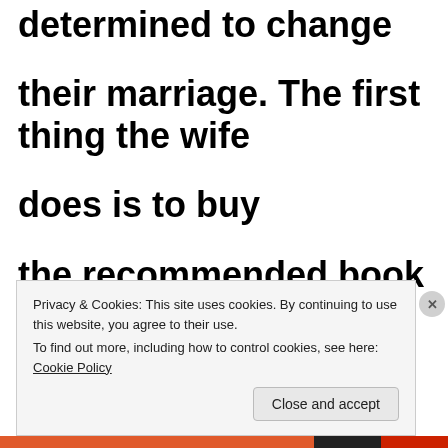determined to change their marriage. The first thing the wife does is to buy the recommended book Do Yourself a Favor and Love
Privacy & Cookies: This site uses cookies. By continuing to use this website, you agree to their use.
To find out more, including how to control cookies, see here: Cookie Policy
Close and accept